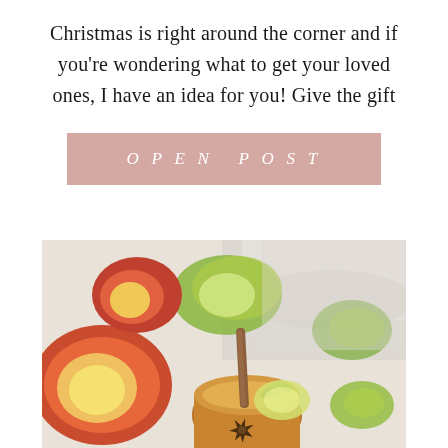Christmas is right around the corner and if you're wondering what to get your loved ones, I have an idea for you! Give the gift
[Figure (other): Pink/mauve rectangular button with italic spaced text reading 'OPEN POST']
[Figure (photo): Close-up food/drink photo showing sliced apples (red and green), a cinnamon stick, star anise, and fresh herbs in a copper mug, styled on a light marble surface.]